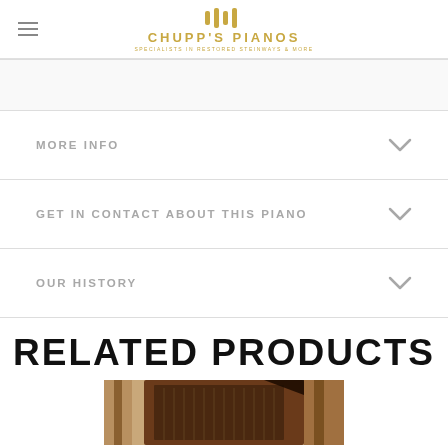Chupp's Pianos — Specialists in Restored Steinways & More
MORE INFO
GET IN CONTACT ABOUT THIS PIANO
OUR HISTORY
RELATED PRODUCTS
[Figure (photo): Grand piano with open lid, mahogany finish, viewed from above at an angle]